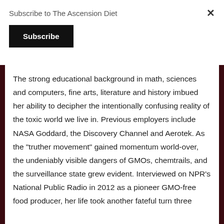Subscribe to The Ascension Diet
Subscribe
The strong educational background in math, sciences and computers, fine arts, literature and history imbued her ability to decipher the intentionally confusing reality of the toxic world we live in. Previous employers include NASA Goddard, the Discovery Channel and Aerotek. As the "truther movement" gained momentum world-over, the undeniably visible dangers of GMOs, chemtrails, and the surveillance state grew evident. Interviewed on NPR's National Public Radio in 2012 as a pioneer GMO-free food producer, her life took another fateful turn three